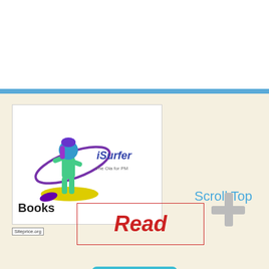[Figure (screenshot): Website UI screenshot showing a book site page with a 3D female character logo (iSurfer/surfing figure), Books label, Scroll Top link, Read button in red dashed box, a plus icon, and a teal Like button with count 0]
Books
Scroll Top
Read
Siteprice.org
Like 0